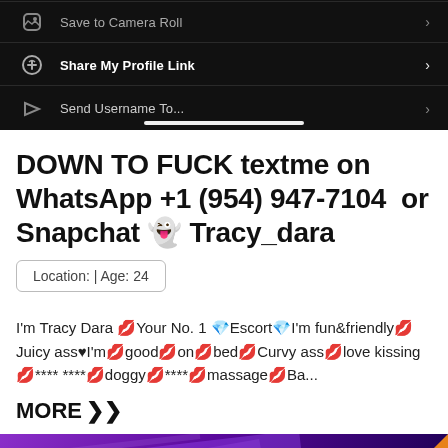[Figure (screenshot): Mobile app screenshot showing menu items: Save to Camera Roll, Share My Profile Link, Send Username To... on dark background]
DOWN TO FUCK textme on WhatsApp +1 (954) 947-7104  or Snapchat 👻 Tracy_dara
Location: | Age: 24
I'm Tracy Dara 💋Your No. 1 💎Escort💎I'm fun&friendly💋Juicy ass♥I'm💋good💋on💋bed💋Curvy ass💋love kissing💋**** ****💋doggy💋****💋massage💋Ba...
MORE ❯❯
[Figure (screenshot): Bottom banner with purple gradient background and SP badge in orange corner]